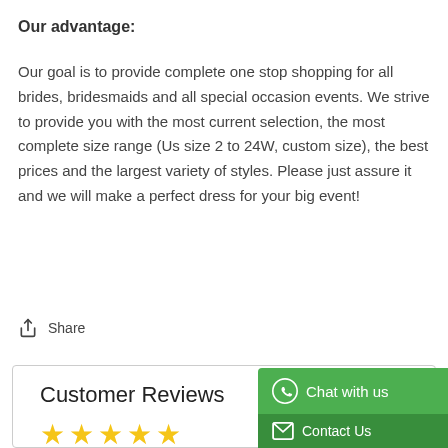Our advantage:
Our goal is to provide complete one stop shopping for all brides, bridesmaids and all special occasion events. We strive to provide you with the most current selection, the most complete size range (Us size 2 to 24W, custom size), the best prices and the largest variety of styles. Please just assure it and we will make a perfect dress for your big event!
Share
Customer Reviews
[Figure (other): Five gold star rating icons]
[Figure (other): Green WhatsApp Chat with us / Contact Us widget button in bottom right corner]